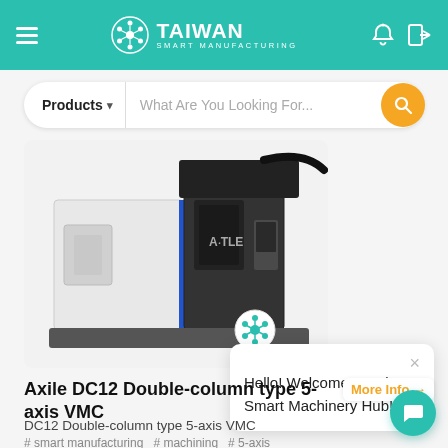Taiwan Smart Manufacturing
Products  What Are You Looking For...
[Figure (photo): Axile DC12 Double-column type 5-axis VMC CNC machine tool in white and blue/black color scheme]
Hello! Welcome to Taiwan Smart Machinery Hub!
Axile DC12 Double-column type 5-axis VMC
More Info →
DC12 Double-column type 5-axis VMC
# smart manufacturing  # machining  # 5-axis